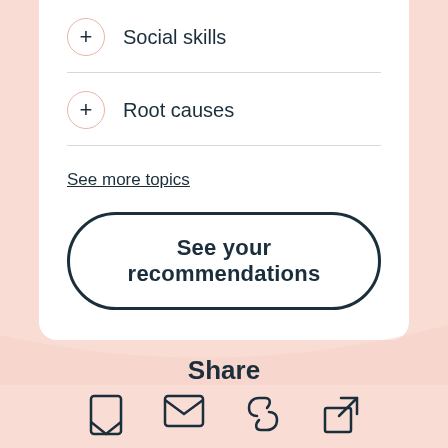+ Social skills
+ Root causes
See more topics
See your recommendations
Share
[Figure (illustration): Four share icons: bookmark, email, link, and external link]